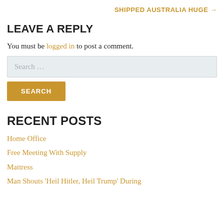SHIPPED AUSTRALIA HUGE →
LEAVE A REPLY
You must be logged in to post a comment.
Search …
SEARCH
RECENT POSTS
Home Office
Free Meeting With Supply
Mattress
Man Shouts 'Heil Hitler, Heil Trump' During